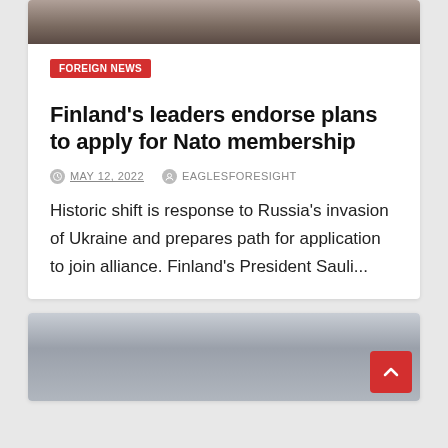[Figure (photo): Partial photo at top of card — appears to show persons at an official event, cropped]
FOREIGN NEWS
Finland's leaders endorse plans to apply for Nato membership
MAY 12, 2022   EAGLESFORESIGHT
Historic shift is response to Russia's invasion of Ukraine and prepares path for application to join alliance. Finland's President Sauli...
[Figure (photo): Partial photo at bottom — grey sky or overcast outdoor scene, cropped]